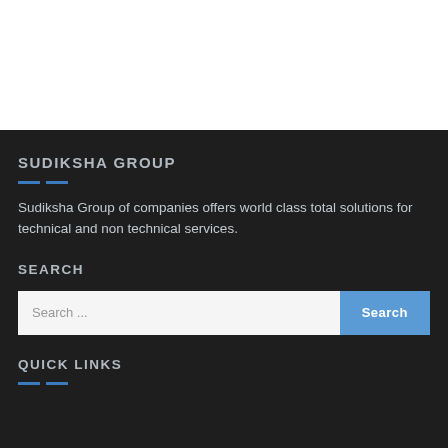SUDIKSHA GROUP
Sudiksha Group of companies offers world class total solutions for technical and non technical services.
SEARCH
Search ...
QUICK LINKS